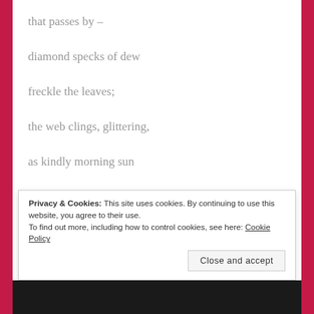that passes by –
diamond specks of dew
freckle the leaves;
the web clings, glittering,
as kindly morning sun
warms the lane.
Privacy & Cookies: This site uses cookies. By continuing to use this website, you agree to their use.
To find out more, including how to control cookies, see here: Cookie Policy
Close and accept
[Figure (photo): Dark image strip at the bottom of the page]